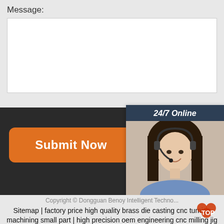Message:
Submit Now
24/7 Online
[Figure (photo): Customer service representative woman wearing headset, smiling]
Click here for free chat !
QUOTATION
Copyright © Dongguan Benoy Intelligent Techno...
Sitemap | factory price high quality brass die casting cnc turning machining small part | high precision oem engineering cnc milling jig fixture plate machining-center pallets | cnc machine shops 4 axis cnc milling 6061 aluminum parts